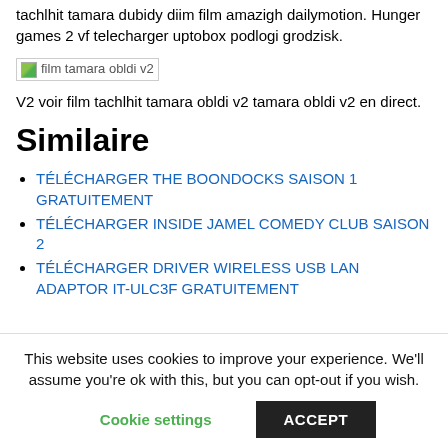tachlhit tamara dubidy diim film amazigh dailymotion. Hunger games 2 vf telecharger uptobox podlogi grodzisk.
[Figure (photo): Broken image placeholder labeled 'film tamara obldi v2']
V2 voir film tachlhit tamara obldi v2 tamara obldi v2 en direct.
Similaire
TÉLÉCHARGER THE BOONDOCKS SAISON 1 GRATUITEMENT
TÉLÉCHARGER INSIDE JAMEL COMEDY CLUB SAISON 2
TÉLÉCHARGER DRIVER WIRELESS USB LAN ADAPTOR IT-ULC3F GRATUITEMENT
This website uses cookies to improve your experience. We'll assume you're ok with this, but you can opt-out if you wish.